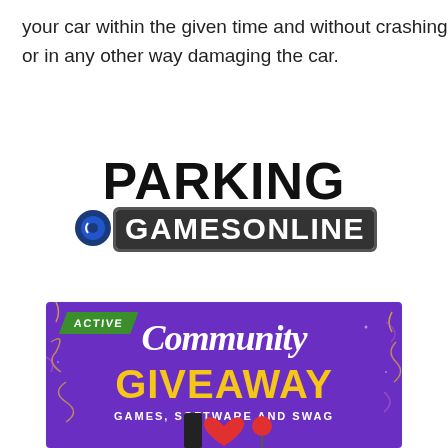your car within the given time and without crashing or in any other way damaging the car.
[Figure (logo): Parking Games Online logo — 'PARKING' in large bold black text above a dark badge reading 'GAMESONLINE' with a circular icon to the left]
[Figure (infographic): Purple banner with 'ACTIVE' green ribbon badge, cursive 'Community' heading, bold yellow 'GIVEAWAY' text, and subtitle 'GAMES, SOFTWARE AND SWAG' with decorative confetti lines and partial icons at the bottom.]